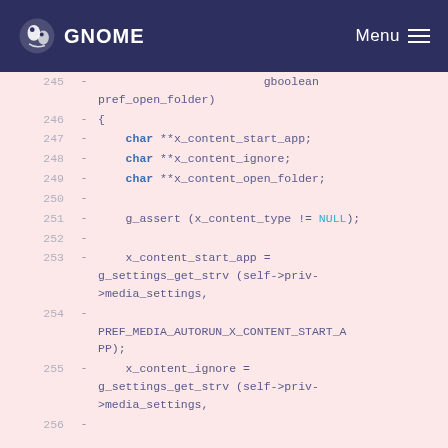GNOME Menu
Code diff showing lines 245-256 of a C source file. Removed lines (marked with -) showing function body with char declarations and g_settings_get_strv calls.